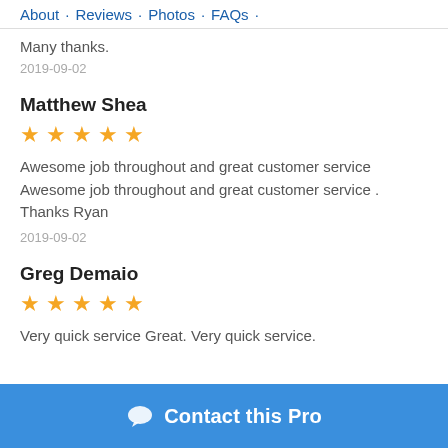About · Reviews · Photos · FAQs ·
Many thanks.
2019-09-02
Matthew Shea
[Figure (other): 5 gold stars rating]
Awesome job throughout and great customer service Awesome job throughout and great customer service . Thanks Ryan
2019-09-02
Greg Demaio
[Figure (other): 5 gold stars rating]
Very quick service Great. Very quick service.